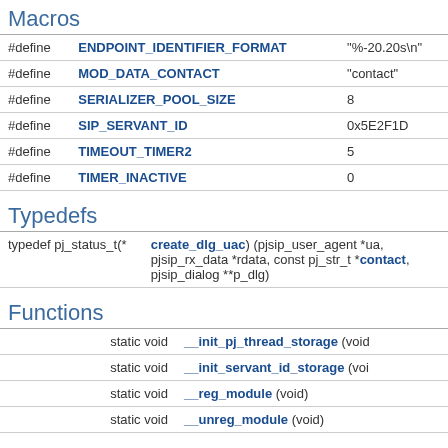Macros
|  | Name | Value |
| --- | --- | --- |
| #define | ENDPOINT_IDENTIFIER_FORMAT | "%-20.20s\n" |
| #define | MOD_DATA_CONTACT | "contact" |
| #define | SERIALIZER_POOL_SIZE | 8 |
| #define | SIP_SERVANT_ID | 0x5E2F1D |
| #define | TIMEOUT_TIMER2 | 5 |
| #define | TIMER_INACTIVE | 0 |
Typedefs
|  |  |
| --- | --- |
| typedef pj_status_t(* | create_dlg_uac) (pjsip_user_agent *ua, pjsip_rx_data *rdata, const pj_str_t *contact, pjsip_dialog **p_dlg) |
Functions
|  |  |
| --- | --- |
| static void | __init_pj_thread_storage (void) |
| static void | __init_servant_id_storage (voi… |
| static void | __reg_module (void) |
| static void | __unreg_module (void) |